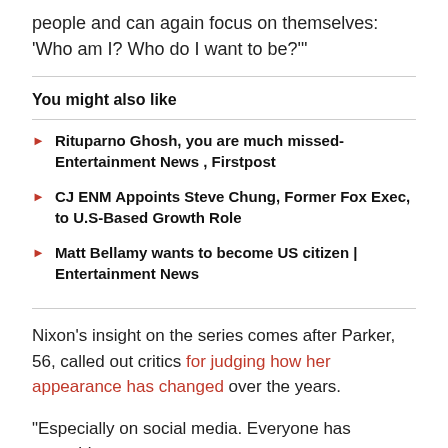people and can again focus on themselves: 'Who am I? Who do I want to be?'
You might also like
Rituparno Ghosh, you are much missed-Entertainment News , Firstpost
CJ ENM Appoints Steve Chung, Former Fox Exec, to U.S-Based Growth Role
Matt Bellamy wants to become US citizen | Entertainment News
Nixon's insight on the series comes after Parker, 56, called out critics for judging how her appearance has changed over the years.
“Especially on social media. Everyone has something to